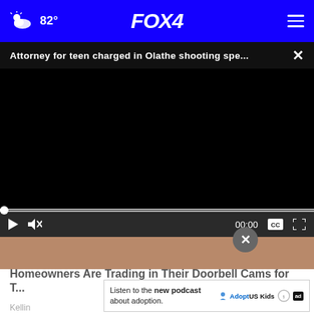82° FOX 4
Attorney for teen charged in Olathe shooting spe...
[Figure (screenshot): Black video player area with playback controls showing 00:00 timestamp, play button, mute button, captions button, and fullscreen button]
Homeowners Are Trading in Their Doorbell Cams for T...
Listen to the new podcast about adoption.
Adopt US Kids
Kellin